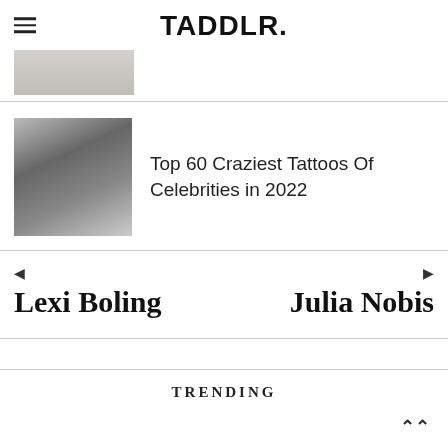TADDLR.
[Figure (photo): Partial image of a person, cropped, shown at top left below header]
Top 60 Craziest Tattoos Of Celebrities in 2022
Lexi Boling
Julia Nobis
TRENDING